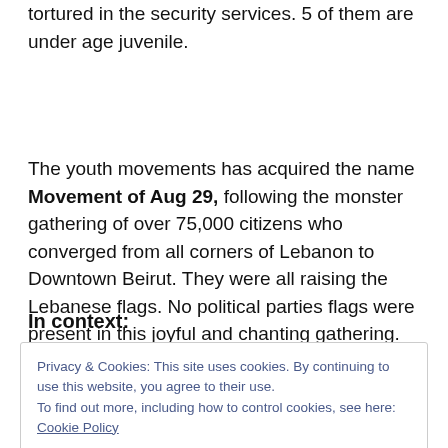tortured in the security services. 5 of them are under age juvenile.
The youth movements has acquired the name Movement of Aug 29, following the monster gathering of over 75,000 citizens who converged from all corners of Lebanon to Downtown Beirut. They were all raising the Lebanese flags. No political parties flags were present in this joyful and chanting gathering.
In context:
Privacy & Cookies: This site uses cookies. By continuing to use this website, you agree to their use.
To find out more, including how to control cookies, see here: Cookie Policy